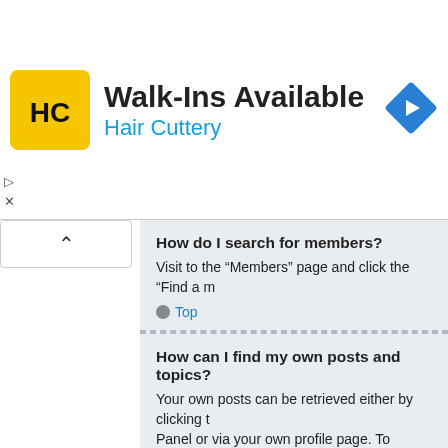[Figure (logo): Hair Cuttery HC logo yellow square with HC letters]
Walk-Ins Available
Hair Cuttery
[Figure (other): Blue diamond navigation arrow icon]
How do I search for members?
Visit to the “Members” page and click the “Find a m
Top
How can I find my own posts and topics?
Your own posts can be retrieved either by clicking t Panel or via your own profile page. To search for yo fill in the various options appropriately.
Top
Topic Subscriptions and Bookmarks
What is the difference between bookmarking ar
Bookmarking in phpBB3 is much like bookmarking there’s an update, but you can come back to the to